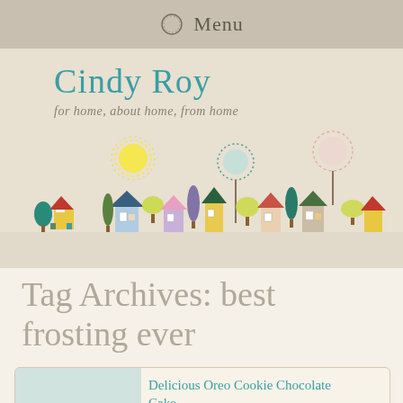Menu
Cindy Roy
for home, about home, from home
[Figure (illustration): Colorful cartoon townscape with small houses, trees, and a sun, arranged in a horizontal row against a beige textured background.]
Tag Archives: best frosting ever
Delicious Oreo Cookie Chocolate Cake